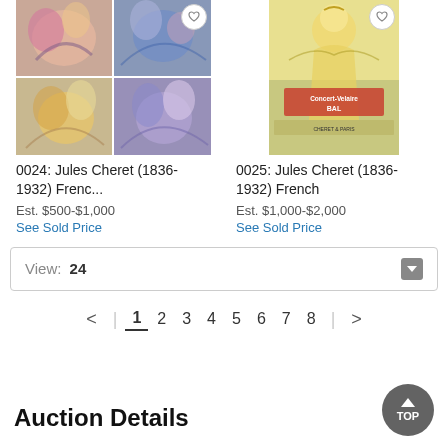[Figure (photo): Collage of 4 artwork images showing colorful figures, Jules Cheret style poster art]
0024: Jules Cheret (1836-1932) Frenc...
Est. $500-$1,000
See Sold Price
[Figure (photo): Single tall poster artwork in yellow/green tones, text reading 'Concert Velaire Bal', Jules Cheret style]
0025: Jules Cheret (1836-1932) French
Est. $1,000-$2,000
See Sold Price
View:  24
1 2 3 4 5 6 7 8
Auction Details